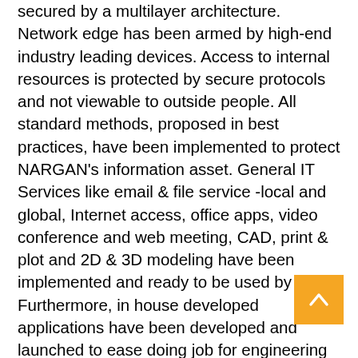secured by a multilayer architecture. Network edge has been armed by high-end industry leading devices. Access to internal resources is protected by secure protocols and not viewable to outside people. All standard methods, proposed in best practices, have been implemented to protect NARGAN's information asset. General IT Services like email & file service -local and global, Internet access, office apps, video conference and web meeting, CAD, print & plot and 2D & 3D modeling have been implemented and ready to be used by users. Furthermore, in house developed applications have been developed and launched to ease doing job for engineering and project teams. NARGAN's PCIM –a well-known web application- has been developed to support easy collaboration between all project bodies- Clients, Managing Contractors (MC), contractors and vendors- via EDMS. It prepares a secure way to store, share and transfer of files and documents among all project bodies based on pre-defined collaboration matrix with